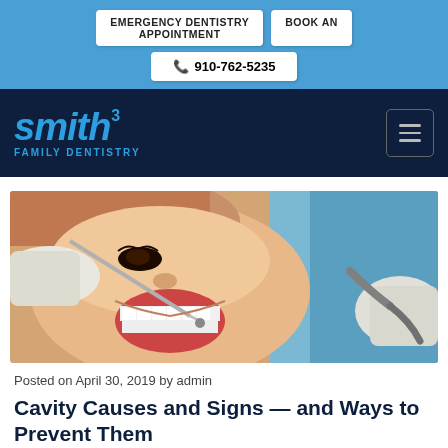EMERGENCY DENTISTRY   BOOK AN APPOINTMENT   📞 910-762-5235
[Figure (logo): Smith³ Family Dentistry logo with blue text on dark navy background, with hamburger menu icon]
[Figure (photo): Dental patient smiling with mouth open while dentist performs procedure with dental tools, gloved hands visible]
Posted on April 30, 2019 by admin
Cavity Causes and Signs — and Ways to Prevent Them